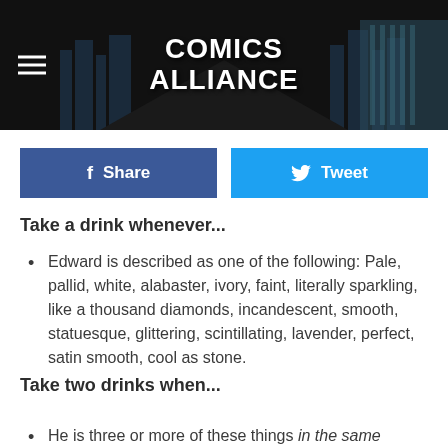[Figure (logo): Comics Alliance website header with logo on dark/city background, hamburger menu icon on left]
[Figure (infographic): Facebook Share button (dark blue) and Twitter Tweet button (light blue) side by side]
Take a drink whenever...
Edward is described as one of the following: Pale, pallid, white, alabaster, ivory, faint, literally sparkling, like a thousand diamonds, incandescent, smooth, statuesque, glittering, scintillating, lavender, perfect, satin smooth, cool as stone.
Take two drinks when...
He is three or more of these things in the same